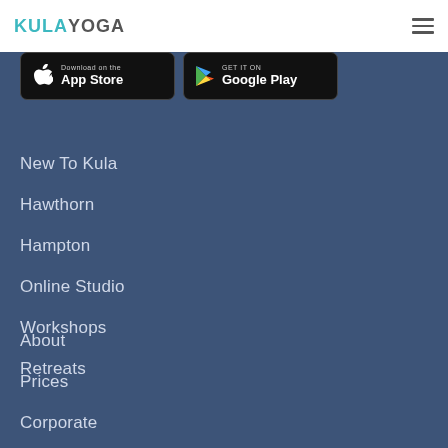[Figure (logo): Kula Yoga logo with KULA in teal and YOGA in dark gray]
[Figure (other): Hamburger menu icon (three horizontal lines)]
[Figure (other): Download on the App Store button (black rounded rectangle with Apple logo)]
[Figure (other): GET IT ON Google Play button (black rounded rectangle with Play logo)]
New To Kula
Hawthorn
Hampton
Online Studio
Workshops
Retreats
About
Prices
Corporate